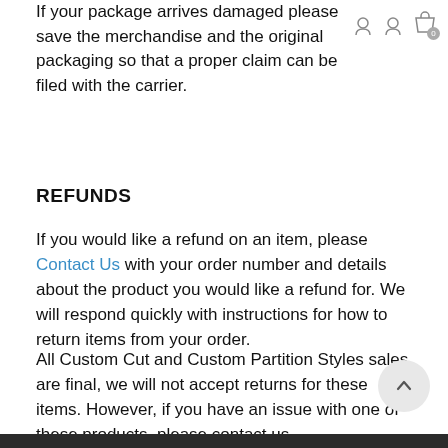If your package arrives damaged please save the merchandise and the original packaging so that a proper claim can be filed with the carrier.
REFUNDS
If you would like a refund on an item, please Contact Us with your order number and details about the product you would like a refund for. We will respond quickly with instructions for how to return items from your order.
All Custom Cut and Custom Partition Styles sales are final, we will not accept returns for these items. However, if you have an issue with one of these products, please contact us.